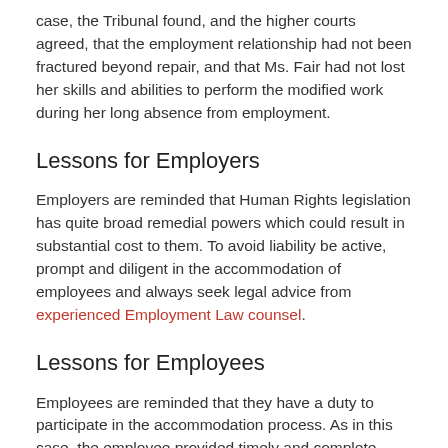case, the Tribunal found, and the higher courts agreed, that the employment relationship had not been fractured beyond repair, and that Ms. Fair had not lost her skills and abilities to perform the modified work during her long absence from employment.
Lessons for Employers
Employers are reminded that Human Rights legislation has quite broad remedial powers which could result in substantial cost to them. To avoid liability be active, prompt and diligent in the accommodation of employees and always seek legal advice from experienced Employment Law counsel.
Lessons for Employees
Employees are reminded that they have a duty to participate in the accommodation process. As in this case, the employee provided timely and complete information to the employer with respect to her abilities and limitations in the workplace, after seeking legal advice.